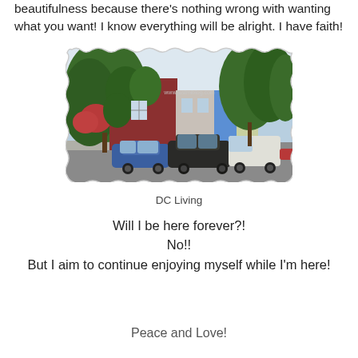beautifulness because there's nothing wrong with wanting what you want! I know everything will be alright. I have faith!
[Figure (photo): A tree-lined residential street in Washington DC with ivy-covered red brick buildings, parked cars (a blue sedan, dark SUV, white van), and lush green trees. Watermark reads www.justmiblog.com]
DC Living
Will I be here forever?!
No!!
But I aim to continue enjoying myself while I'm here!
Peace and Love!